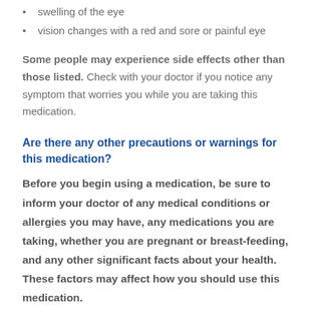swelling of the eye
vision changes with a red and sore or painful eye
Some people may experience side effects other than those listed. Check with your doctor if you notice any symptom that worries you while you are taking this medication.
Are there any other precautions or warnings for this medication?
Before you begin using a medication, be sure to inform your doctor of any medical conditions or allergies you may have, any medications you are taking, whether you are pregnant or breast-feeding, and any other significant facts about your health. These factors may affect how you should use this medication.
Asthma: Some people with asthma may experience an increase in asthma symptoms, such as shortness of breath, when they use latanoprost or other similar medications. If you have asthma, discuss with your doctor how latanoprost may